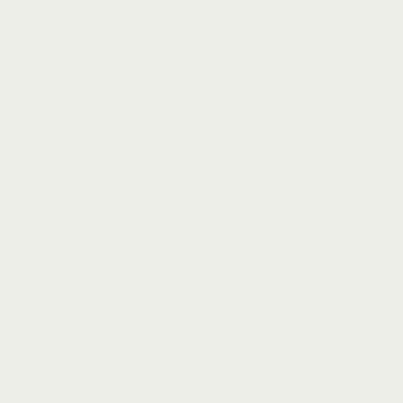Praise:Seeds shipped 10-4-2011. T
Oldrelicsse (5)
Praise:Seeds shipped 10-4-2011. T
[ My
[ Add
[ S
[ All
U
Yo